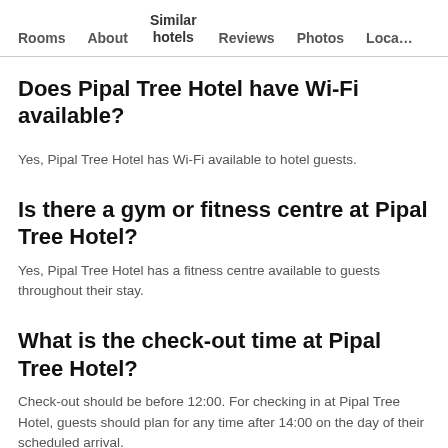Rooms   About   Similar hotels   Reviews   Photos   Loca…
Does Pipal Tree Hotel have Wi-Fi available?
Yes, Pipal Tree Hotel has Wi-Fi available to hotel guests.
Is there a gym or fitness centre at Pipal Tree Hotel?
Yes, Pipal Tree Hotel has a fitness centre available to guests throughout their stay.
What is the check-out time at Pipal Tree Hotel?
Check-out should be before 12:00. For checking in at Pipal Tree Hotel, guests should plan for any time after 14:00 on the day of their scheduled arrival.